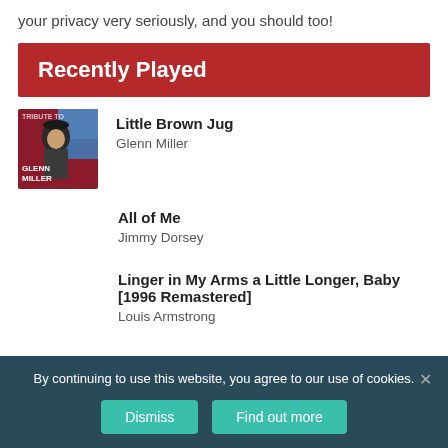your privacy very seriously, and you should too!
Recently Played
Little Brown Jug — Glenn Miller
All of Me — Jimmy Dorsey
Linger in My Arms a Little Longer, Baby [1996 Remastered] — Louis Armstrong
By continuing to use this website, you agree to our use of cookies.